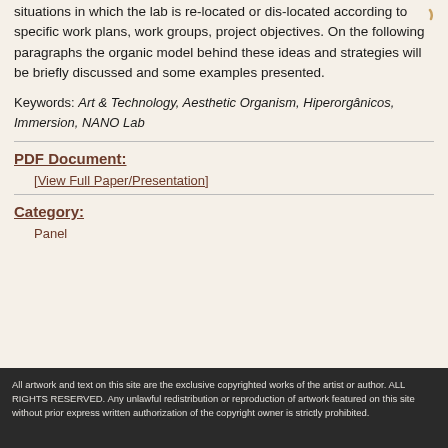situations in which the lab is re-located or dis-located according to specific work plans, work groups, project objectives. On the following paragraphs the organic model behind these ideas and strategies will be briefly discussed and some examples presented.
Keywords: Art & Technology, Aesthetic Organism, Hiperorgânicos, Immersion, NANO Lab
PDF Document:
[View Full Paper/Presentation]
Category:
Panel
All artwork and text on this site are the exclusive copyrighted works of the artist or author. ALL RIGHTS RESERVED. Any unlawful redistribution or reproduction of artwork featured on this site without prior express written authorization of the copyright owner is strictly prohibited.